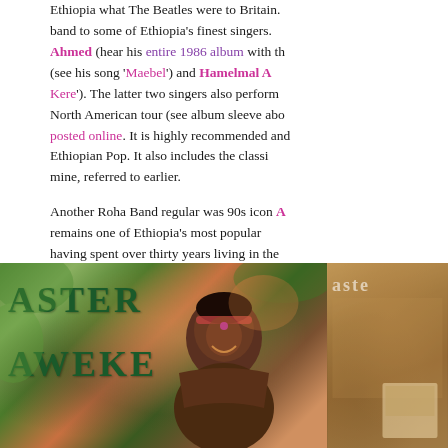Ethiopia what The Beatles were to Britain. band to some of Ethiopia's finest singers. Ahmed (hear his entire 1986 album with th (see his song 'Maebel') and Hamelmal A Kere'). The latter two singers also perform North American tour (see album sleeve abo posted online. It is highly recommended and Ethiopian Pop. It also includes the classi mine, referred to earlier.
Another Roha Band regular was 90s icon A remains one of Ethiopia's most popular having spent over thirty years living in the unlike most Ethiopian Pop due to its glossy,
[Figure (photo): Album covers or promotional photos for Aster Aweke, showing text 'ASTER AWEKE' on the left panel with a woman in traditional headwear smiling, and a partial second album cover on the right.]